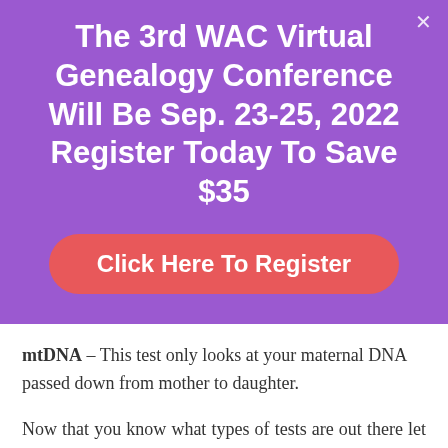The 3rd WAC Virtual Genealogy Conference Will Be Sep. 23-25, 2022 Register Today To Save $35
Click Here To Register
mtDNA – This test only looks at your maternal DNA passed down from mother to daughter.
Now that you know what types of tests are out there let me tell you about the top three companies that I recommend that you use, in